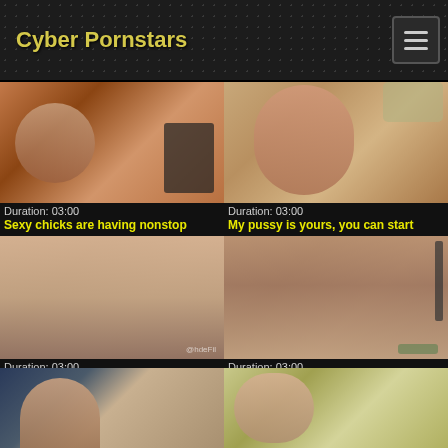Cyber Pornstars
Duration: 03:00
Sexy chicks are having nonstop
Duration: 03:00
My pussy is yours, you can start
Duration: 03:00
Blowjob-loving pornstars give
Duration: 03:00
When she find him and they go to
[Figure (photo): Video thumbnail - bottom left partial]
[Figure (photo): Video thumbnail - bottom right partial]